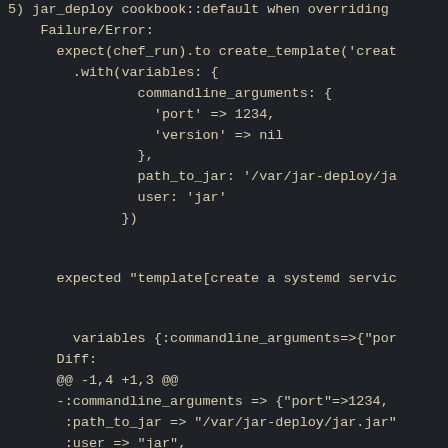5) jar_deploy cookbook::default when overriding
    Failure/Error:
      expect(chef_run).to create_template('creat
        .with(variables: {
                commandline_arguments: {
                  'port' => 1234,
                  'version' => nil
                },
                path_to_jar: '/var/jar-deploy/ja
                user: 'jar'
              })

      expected "template[create a systemd servic

        variables {:commandline_arguments=>{"por
      Diff:
      @@ -1,4 +1,3 @@
      -:commandline_arguments => {"port"=>1234,
       :path_to_jar => "/var/jar-deploy/jar.jar"
       :user => "jar",
       # ./spec/unit/recipes/default_spec.rb:268:in